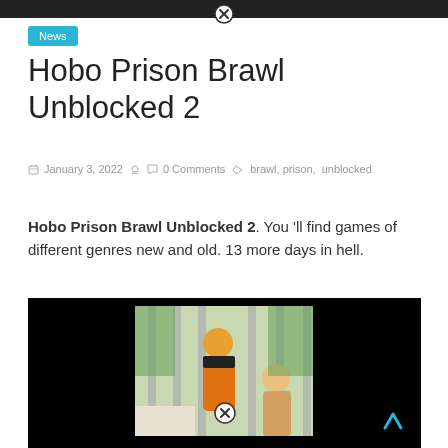News
Hobo Prison Brawl Unblocked 2
January 3, 2022  0 Comments  brawl, prison, unblocked
Hobo Prison Brawl Unblocked 2. You 'll find games of different genres new and old. 13 more days in hell.
[Figure (illustration): Game screenshot showing cartoon characters behind prison bars, one in orange jumpsuit, against a black background. A circular close button appears at the bottom center.]